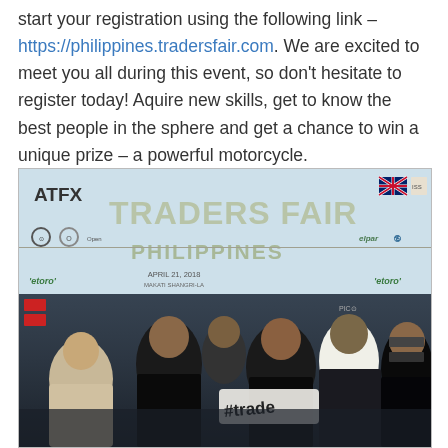start your registration using the following link – https://philippines.tradersfair.com. We are excited to meet you all during this event, so don't hesitate to register today! Aquire new skills, get to know the best people in the sphere and get a chance to win a unique prize – a powerful motorcycle.
[Figure (photo): Group photo of six men standing in front of a Traders Fair Philippines event backdrop. The banner reads 'ATFX TRADERS FAIR PHILIPPINES APRIL 21, 2018 MAKATI SHANGRI-LA' with sponsor logos including eToro. One person holds a #tradersfair sign.]